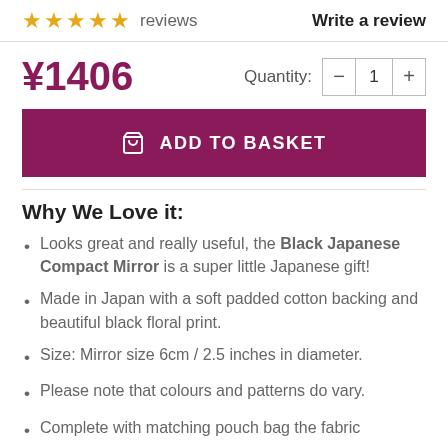★★★★★ reviews   Write a review
¥1406   Quantity: − 1 +
ADD TO BASKET
Why We Love it:
Looks great and really useful, the Black Japanese Compact Mirror is a super little Japanese gift!
Made in Japan with a soft padded cotton backing and beautiful black floral print.
Size: Mirror size 6cm / 2.5 inches in diameter.
Please note that colours and patterns do vary.
Complete with matching pouch bag the fabric